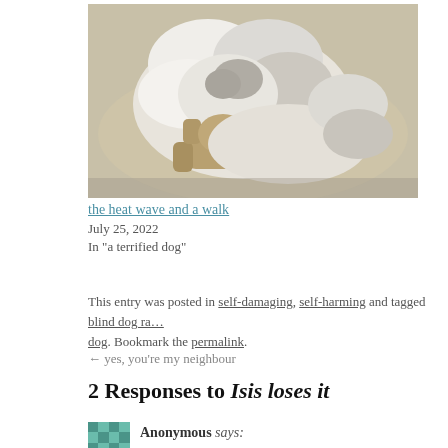[Figure (photo): A white fluffy dog lying in a round dog bed, holding a stuffed animal toy in its mouth. The dog appears to be a Papillon or similar breed with long white and grey fur.]
the heat wave and a walk
July 25, 2022
In "a terrified dog"
This entry was posted in self-damaging, self-harming and tagged blind dog ra… dog. Bookmark the permalink.
← yes, you're my neighbour
2 Responses to Isis loses it
[Figure (illustration): Small teal/green patchwork quilt avatar icon for Anonymous commenter]
Anonymous says: